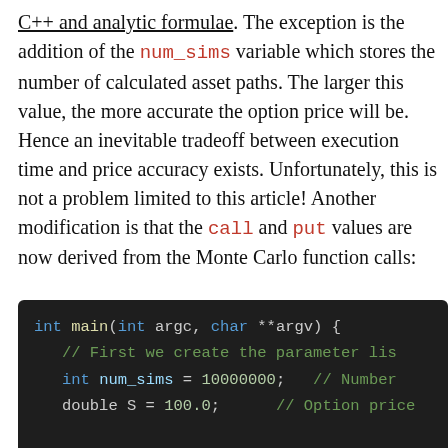C++ and analytic formulae. The exception is the addition of the num_sims variable which stores the number of calculated asset paths. The larger this value, the more accurate the option price will be. Hence an inevitable tradeoff between execution time and price accuracy exists. Unfortunately, this is not a problem limited to this article! Another modification is that the call and put values are now derived from the Monte Carlo function calls:
[Figure (screenshot): Code block on dark background showing C++ code: int main(int argc, char **argv) { // First we create the parameter li... int num_sims = 10000000; // Number double S = 100.0; // Option price]